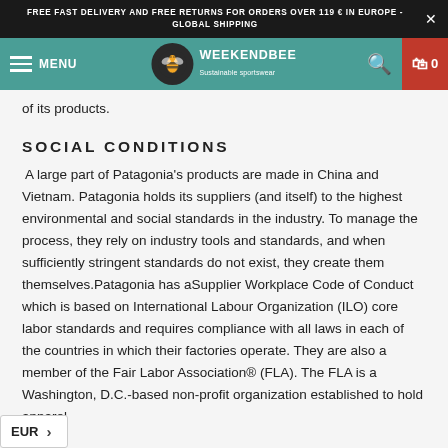FREE FAST DELIVERY AND FREE RETURNS FOR ORDERS OVER 119 € IN EUROPE - GLOBAL SHIPPING
[Figure (logo): Weekendbee Sustainable sportswear logo and navigation bar with menu, search, and cart icons on teal background]
of its products.
SOCIAL CONDITIONS
A large part of Patagonia's products are made in China and Vietnam. Patagonia holds its suppliers (and itself) to the highest environmental and social standards in the industry. To manage the process, they rely on industry tools and standards, and when sufficiently stringent standards do not exist, they create them themselves.Patagonia has aSupplier Workplace Code of Conduct which is based on International Labour Organization (ILO) core labor standards and requires compliance with all laws in each of the countries in which their factories operate. They are also a member of the Fair Labor Association® (FLA). The FLA is a Washington, D.C.-based non-profit organization established to hold apparel